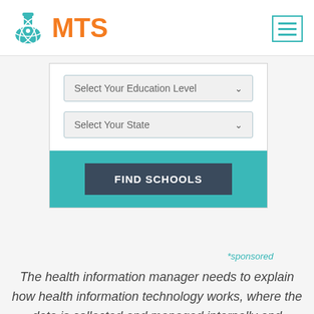[Figure (logo): MTS logo with teal flask/atom icon and orange MTS text, with teal menu hamburger icon in top right]
[Figure (screenshot): Web widget with two dropdown selectors: 'Select Your Education Level' and 'Select Your State', and a teal footer with dark 'FIND SCHOOLS' button]
*sponsored
The health information manager needs to explain how health information technology works, where the data is collected and managed internally and externally, and